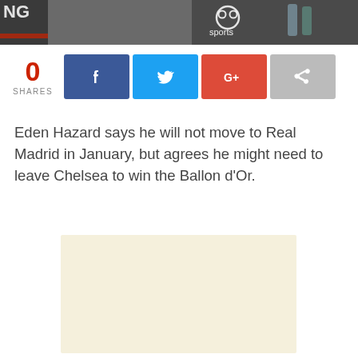[Figure (photo): Cropped sports/news photograph showing athletes and a 'sports' logo in the top banner area]
0
SHARES
[Figure (other): Social sharing buttons: Facebook, Twitter, Google+, and a share icon button]
Eden Hazard says he will not move to Real Madrid in January, but agrees he might need to leave Chelsea to win the Ballon d'Or.
[Figure (other): Advertisement placeholder block with light cream/beige background]